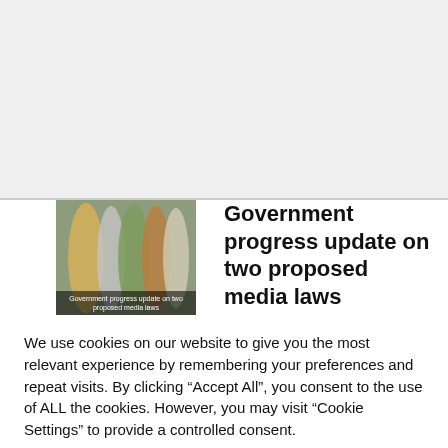[Figure (photo): Gray empty area at top of the page, representing a website above-the-fold section]
[Figure (photo): Thumbnail image of rolled/stacked newspapers with overlay caption: Government progress update on two proposed media laws]
Government progress update on two proposed media laws
We use cookies on our website to give you the most relevant experience by remembering your preferences and repeat visits. By clicking “Accept All”, you consent to the use of ALL the cookies. However, you may visit “Cookie Settings” to provide a controlled consent.
Cookie Settings
Accept All